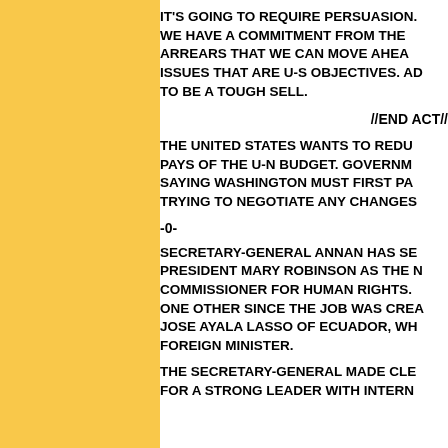IT'S GOING TO REQUIRE PERSUASION. WE HAVE A COMMITMENT FROM THE ARREARS THAT WE CAN MOVE AHEAD ISSUES THAT ARE U-S OBJECTIVES. AD TO BE A TOUGH SELL.
//END ACT//
THE UNITED STATES WANTS TO REDUC PAYS OF THE U-N BUDGET. GOVERNM SAYING WASHINGTON MUST FIRST PA TRYING TO NEGOTIATE ANY CHANGES
-0-
SECRETARY-GENERAL ANNAN HAS SE PRESIDENT MARY ROBINSON AS THE N COMMISSIONER FOR HUMAN RIGHTS. ONE OTHER SINCE THE JOB WAS CREA JOSE AYALA LASSO OF ECUADOR, WH FOREIGN MINISTER.
THE SECRETARY-GENERAL MADE CLE FOR A STRONG LEADER WITH INTERN